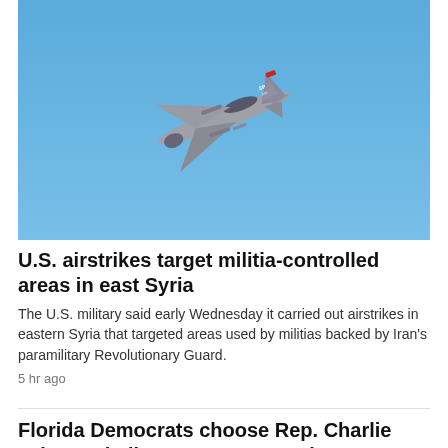[Figure (photo): A gray military F-16 fighter jet flying against a bright blue sky, seen from below and slightly to the side. The jet has 'SP' and '344' markings on the tail, along with a red tail marking.]
U.S. airstrikes target militia-controlled areas in east Syria
The U.S. military said early Wednesday it carried out airstrikes in eastern Syria that targeted areas used by militias backed by Iran's paramilitary Revolutionary Guard.
5 hr ago
Florida Democrats choose Rep. Charlie Crist to challenge Rep. DeSantis